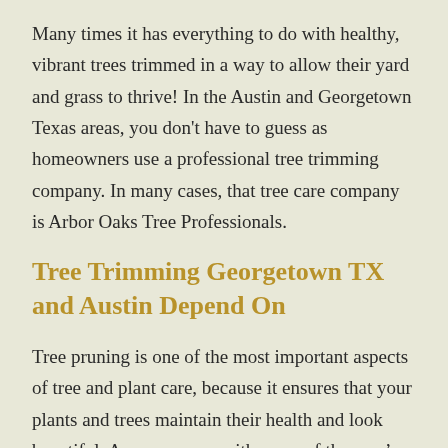Many times it has everything to do with healthy, vibrant trees trimmed in a way to allow their yard and grass to thrive! In the Austin and Georgetown Texas areas, you don't have to guess as homeowners use a professional tree trimming company. In many cases, that tree care company is Arbor Oaks Tree Professionals.
Tree Trimming Georgetown TX and Austin Depend On
Tree pruning is one of the most important aspects of tree and plant care, because it ensures that your plants and trees maintain their health and look beautiful. As a company with some of the area's best tree trimmers, we know this is done by